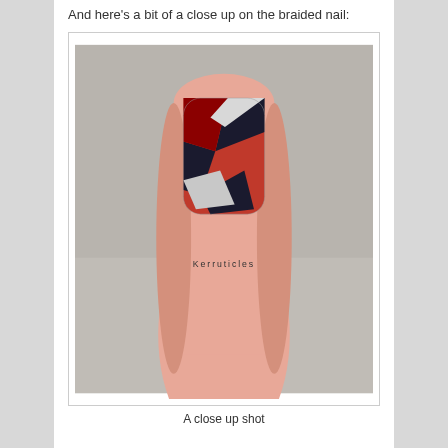And here’s a bit of a close up on the braided nail:
[Figure (photo): Close up photograph of a finger with a braided nail art design featuring red, black/navy, and silver/white diagonal stripe patterns on the nail. The watermark 'Kerruticles' appears in the lower center of the image.]
A close up shot